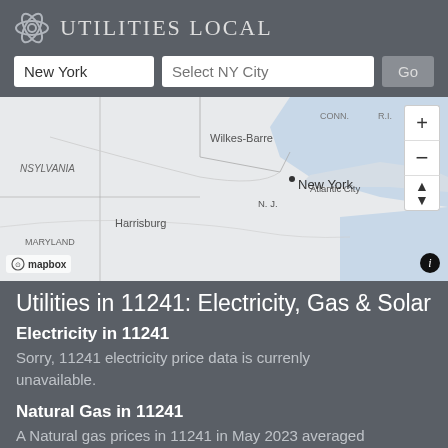Utilities Local
New York | Select NY City | Go
[Figure (map): Interactive map showing northeastern United States including Pennsylvania, New York, New Jersey, Connecticut, Rhode Island. City labels visible: Wilkes-Barre, Harrisburg, New York, N.J., Conn., R.I., Maryland, Atlantic City. Map provided by Mapbox.]
Utilities in 11241: Electricity, Gas & Solar
Electricity in 11241
Sorry, 11241 electricity price data is currenly unavailable.
Natural Gas in 11241
A Natural gas prices in 11241 in May 2023 averaged